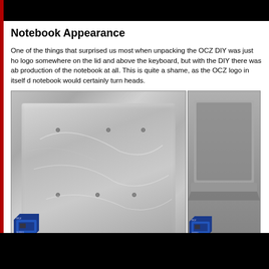Notebook Appearance
One of the things that surprised us most when unpacking the OCZ DIY was just ho logo somewhere on the lid and above the keyboard, but with the DIY there was ab production of the notebook at all. This is quite a shame, as the OCZ logo in itself d notebook would certainly turn heads.
[Figure (photo): Photo of a silver notebook/laptop lid covered in plastic wrap or a metallic finish, showing the top surface with screw holes visible. Watermark bar at bottom reads OVERCLOCK3D with ENLARGE icon. A chip badge appears in the lower left corner.]
[Figure (photo): Partial photo of a laptop shown from the side/corner angle, partially cropped. A chip badge appears in the lower left corner.]
That's not to say that the DIY is unattractive of course, far from it in fact. OCZ have